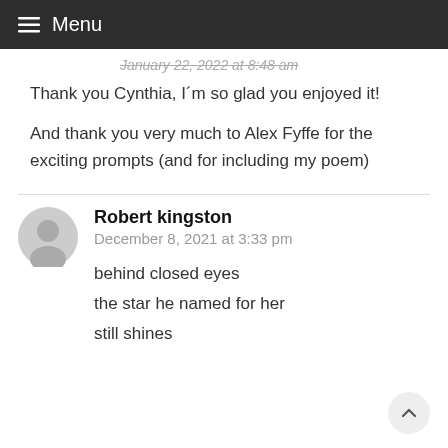≡ Menu
January 22, 2022 at 8:48 am
Thank you Cynthia, I´m so glad you enjoyed it!

And thank you very much to Alex Fyffe for the exciting prompts (and for including my poem)
Robert kingston
December 8, 2021 at 3:33 pm

behind closed eyes
the star he named for her
still shines